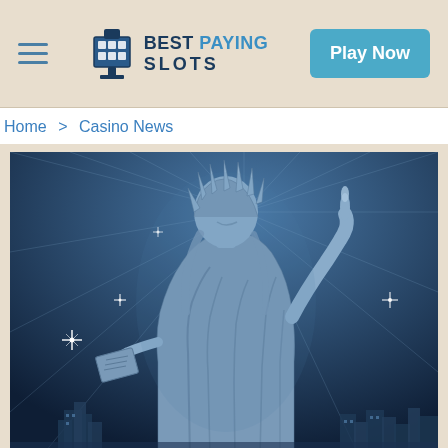Best Paying Slots — Play Now
Home > Casino News
[Figure (illustration): Stylized illustration of the Statue of Liberty in blue tones with radiating light beams in the background, city skyline at bottom, holding torch aloft, with sparkle/star light effects.]